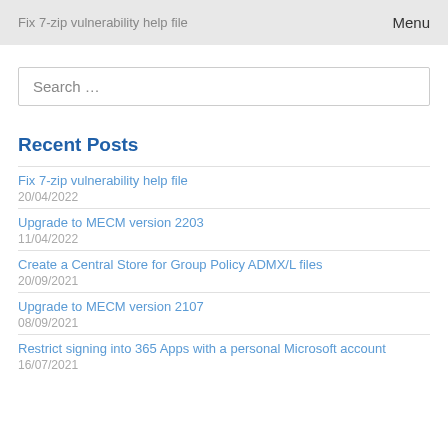Fix 7-zip vulnerability help file   Menu
Search …
Recent Posts
Fix 7-zip vulnerability help file
20/04/2022
Upgrade to MECM version 2203
11/04/2022
Create a Central Store for Group Policy ADMX/L files
20/09/2021
Upgrade to MECM version 2107
08/09/2021
Restrict signing into 365 Apps with a personal Microsoft account
16/07/2021